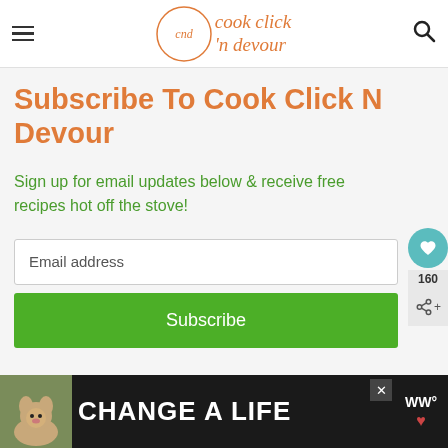cook click 'n devour
Subscribe To Cook Click N Devour
Sign up for email updates below & receive free recipes hot off the stove!
[Figure (screenshot): Email address input field]
[Figure (screenshot): Green Subscribe button]
[Figure (screenshot): Bottom advertisement banner showing a dog and CHANGE A LIFE text]